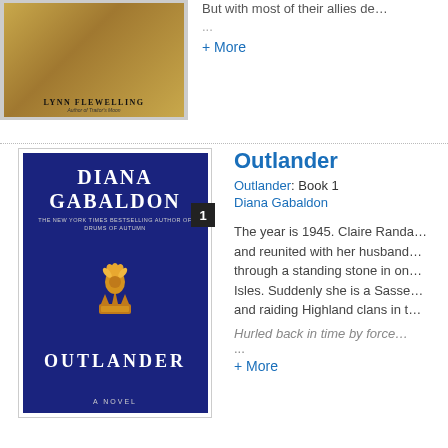[Figure (photo): Book cover for a fantasy novel by Lynn Flewelling, gold/brown tones, showing the author name 'LYNN FLEWELLING' at the bottom.]
But with most of their allies de…
...
+ More
[Figure (photo): Book cover for 'Outlander' by Diana Gabaldon. Dark navy blue cover with large gold thistle crown illustration. Title: OUTLANDER, A Novel. Badge with number 1.]
Outlander
Outlander: Book 1
Diana Gabaldon
The year is 1945. Claire Randa… and reunited with her husband… through a standing stone in on… Isles. Suddenly she is a Sasse… and raiding Highland clans in t…
Hurled back in time by force…
...
+ More